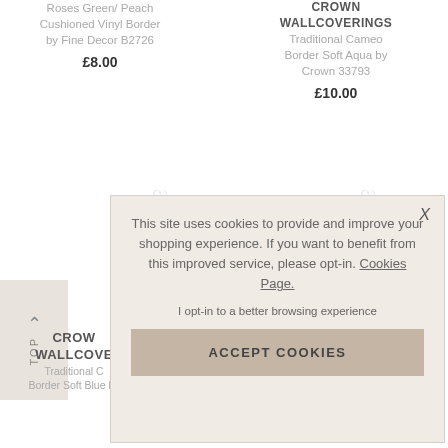Roses Green/ Peach Cushioned Vinyl Border by Fine Decor B2726
£8.00
CROWN WALLCOVERINGS Traditional Cameo Border Soft Aqua by Crown 33793
£10.00
CROWN WALLCOVERINGS Traditional Cameo Border Soft Blue by
This site uses cookies to provide and improve your shopping experience. If you want to benefit from this improved service, please opt-in. Cookies Page.
I opt-in to a better browsing experience
ACCEPT COOKIES